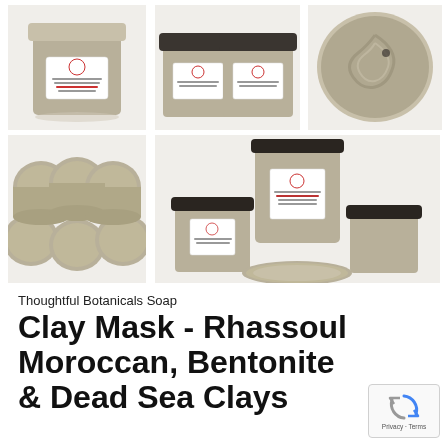[Figure (photo): Product photo grid showing 5 images of clay mask jars in silver/gold metallic containers with white labels, and one close-up of clay texture. Top row: single jar, two jars, close-up of clay. Bottom row: six open jars top view, stacked jars arrangement.]
Thoughtful Botanicals Soap
Clay Mask - Rhassoul Moroccan, Bentonite & Dead Sea Clays
[Figure (logo): reCAPTCHA badge with blue/grey circular arrow icon and Privacy · Terms text]